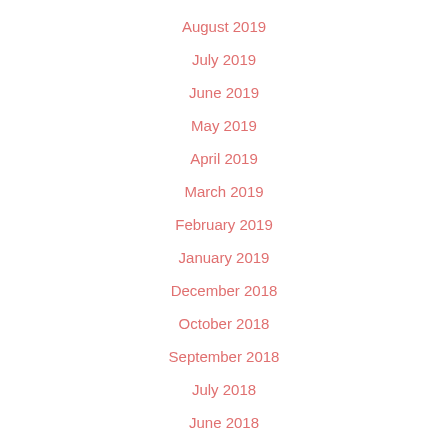August 2019
July 2019
June 2019
May 2019
April 2019
March 2019
February 2019
January 2019
December 2018
October 2018
September 2018
July 2018
June 2018
May 2018
April 2018